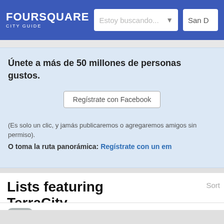FOURSQUARE CITY GUIDE — Estoy buscando... — San D
Únete a más de 50 millones de personas gustos.
Regístrate con Facebook
(Es solo un clic, y jamás publicaremos o agregaremos amigos sin permiso).
O toma la ruta panorámica: Regístrate con un em
Lists featuring TerraCity
TerraCity | Muratpaşa, Türkiye